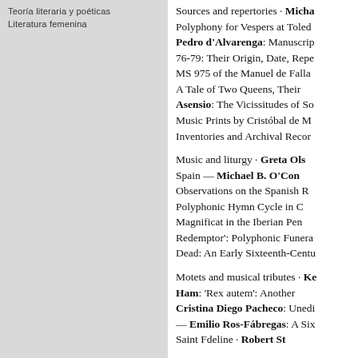Teoría literaria y poéticas
Literatura femenina
Sources and repertories · Micha... Polyphony for Vespers at Toled... Pedro d'Alvarenga: Manuscrip... 76-79: Their Origin, Date, Repe... MS 975 of the Manuel de Falla... A Tale of Two Queens, Their... Asensio: The Vicissitudes of So... Music Prints by Cristóbal de M... Inventories and Archival Recor...
Music and liturgy · Greta Ols... Spain — Michael B. O'Con... Observations on the Spanish R... Polyphonic Hymn Cycle in C... Magnificat in the Iberian Pen... Redemptor': Polyphonic Funera... Dead: An Early Sixteenth-Centu...
Motets and musical tributes · Ke... Ham: 'Rex autem': Another... Cristina Diego Pacheco: Unedi... — Emilio Ros-Fábregas: A Six... Saint Fdeline... Robert St...